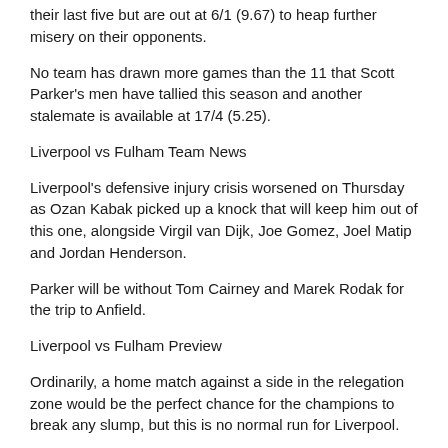their last five but are out at 6/1 (9.67) to heap further misery on their opponents.
No team has drawn more games than the 11 that Scott Parker's men have tallied this season and another stalemate is available at 17/4 (5.25).
Liverpool vs Fulham Team News
Liverpool's defensive injury crisis worsened on Thursday as Ozan Kabak picked up a knock that will keep him out of this one, alongside Virgil van Dijk, Joe Gomez, Joel Matip and Jordan Henderson.
Parker will be without Tom Cairney and Marek Rodak for the trip to Anfield.
Liverpool vs Fulham Preview
Ordinarily, a home match against a side in the relegation zone would be the perfect chance for the champions to break any slump, but this is no normal run for Liverpool.